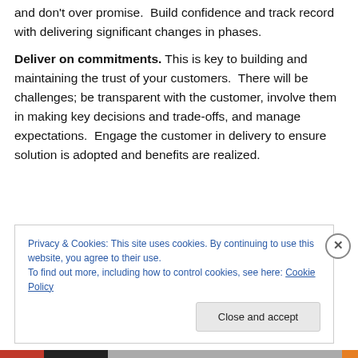Commit to what you can deliver. Know your capabilities and don't over promise. Build confidence and track record with delivering significant changes in phases.
Deliver on commitments. This is key to building and maintaining the trust of your customers. There will be challenges; be transparent with the customer, involve them in making key decisions and trade-offs, and manage expectations. Engage the customer in delivery to ensure solution is adopted and benefits are realized.
Privacy & Cookies: This site uses cookies. By continuing to use this website, you agree to their use.
To find out more, including how to control cookies, see here: Cookie Policy